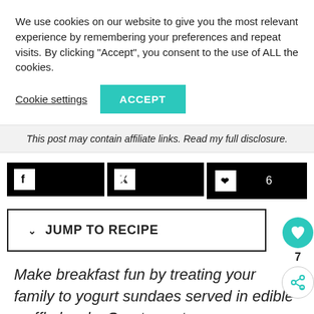We use cookies on our website to give you the most relevant experience by remembering your preferences and repeat visits. By clicking “Accept”, you consent to the use of ALL the cookies.
Cookie settings | ACCEPT
This post may contain affiliate links. Read my full disclosure.
[Figure (other): Social sharing buttons: Facebook, Twitter, Pinterest (6 saves)]
JUMP TO RECIPE
[Figure (other): Heart/save button with count 7 and share button]
Make breakfast fun by treating your family to yogurt sundaes served in edible waffle bowls. Create custom